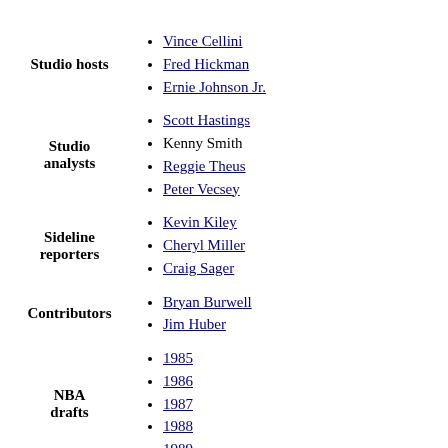Studio hosts
Vince Cellini
Fred Hickman
Ernie Johnson Jr.
Studio analysts
Scott Hastings
Kenny Smith
Reggie Theus
Peter Vecsey
Sideline reporters
Kevin Kiley
Cheryl Miller
Craig Sager
Contributors
Bryan Burwell
Jim Huber
NBA drafts
1985
1986
1987
1988
1989
Lore
Music
Christmas Day
Celtics–Pistons rivalry